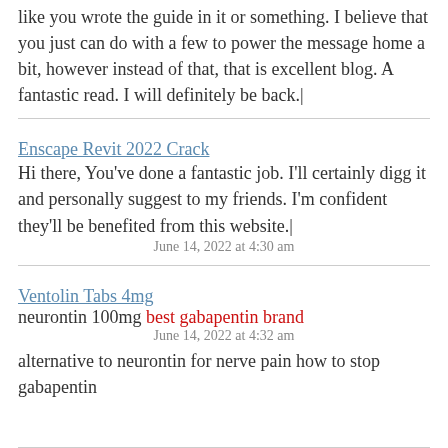like you wrote the guide in it or something. I believe that you just can do with a few to power the message home a bit, however instead of that, that is excellent blog. A fantastic read. I will definitely be back.|
Enscape Revit 2022 Crack
June 14, 2022 at 4:30 am
Hi there, You've done a fantastic job. I'll certainly digg it and personally suggest to my friends. I'm confident they'll be benefited from this website.|
Ventolin Tabs 4mg
neurontin 100mg best gabapentin brand
June 14, 2022 at 4:32 am
alternative to neurontin for nerve pain how to stop gabapentin